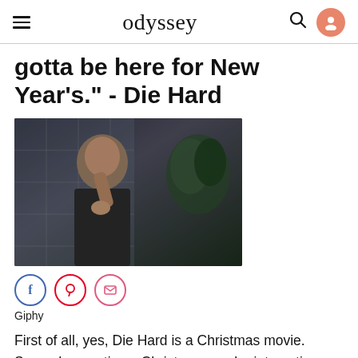odyssey
gotta be here for New Year's." - Die Hard
[Figure (photo): A shirtless man (Bruce Willis as John McClane) talking on a phone, set in an interior scene with tiled walls and a plant in the background — a movie still from Die Hard]
Giphy
First of all, yes, Die Hard is a Christmas movie. Second, sometimes Christmas can be interesting, especially with